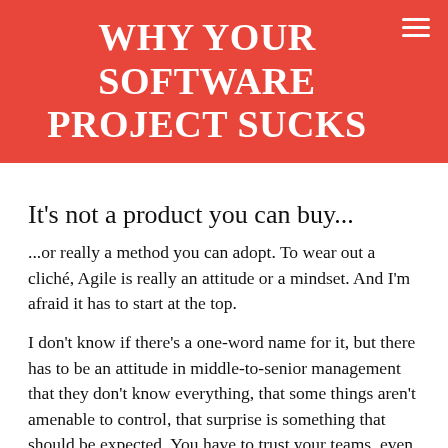WHY YOUR SOFTWARE PROJECT SUCKS
It's not a product you can buy...
...or really a method you can adopt. To wear out a cliché, Agile is really an attitude or a mindset. And I'm afraid it has to start at the top.
I don't know if there's a one-word name for it, but there has to be an attitude in middle-to-senior management that they don't know everything, that some things aren't amenable to control, that surprise is something that should be expected. You have to trust your teams, even when they don't deliver the